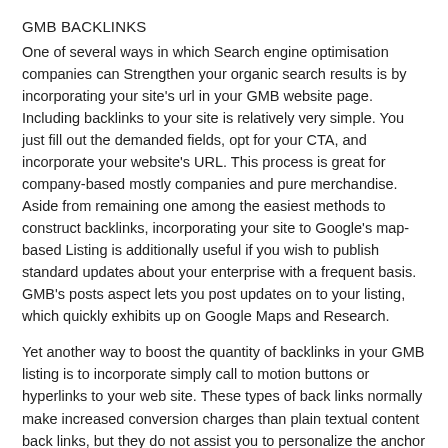GMB BACKLINKS
One of several ways in which Search engine optimisation companies can Strengthen your organic search results is by incorporating your site's url in your GMB website page. Including backlinks to your site is relatively very simple. You just fill out the demanded fields, opt for your CTA, and incorporate your website's URL. This process is great for company-based mostly companies and pure merchandise. Aside from remaining one among the easiest methods to construct backlinks, incorporating your site to Google's map-based Listing is additionally useful if you wish to publish standard updates about your enterprise with a frequent basis. GMB's posts aspect lets you post updates on to your listing, which quickly exhibits up on Google Maps and Research.
Yet another way to boost the quantity of backlinks in your GMB listing is to incorporate simply call to motion buttons or hyperlinks to your web site. These types of back links normally make increased conversion charges than plain textual content back links, but they do not assist you to personalize the anchor text. Another way to realize GMB backlinks is by making an appointment URL. The appointment URL is noticeable with your GMB profile, so it is important to only incorporate this url in